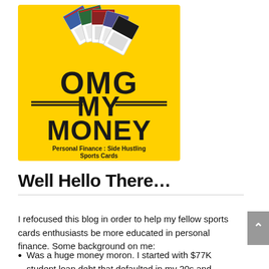[Figure (logo): OMG MY MONEY logo on yellow background with sports cards fanned out above the text. Subtitle reads 'Personal Finance : Side Hustling Sports Cards']
Well Hello There…
I refocused this blog in order to help my fellow sports cards enthusiasts be more educated in personal finance. Some background on me:
Was a huge money moron. I started with $77K student loan debt that defaulted in my 20s and